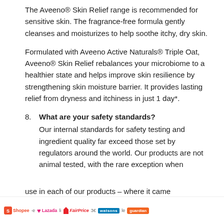The Aveeno® Skin Relief range is recommended for sensitive skin. The fragrance-free formula gently cleanses and moisturizes to help soothe itchy, dry skin.
Formulated with Aveeno Active Naturals® Triple Oat, Aveeno® Skin Relief rebalances your microbiome to a healthier state and helps improve skin resilience by strengthening skin moisture barrier. It provides lasting relief from dryness and itchiness in just 1 day*.
8. What are your safety standards? Our internal standards for safety testing and ingredient quality far exceed those set by regulators around the world. Our products are not animal tested, with the rare exception when
Shopee  e  Lazada  li  FairPrice  3€  watsons  le  guardian
use in each of our products – where it came